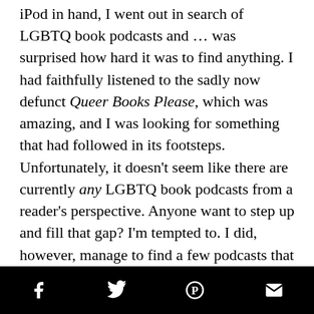iPod in hand, I went out in search of LGBTQ book podcasts and … was surprised how hard it was to find anything. I had faithfully listened to the sadly now defunct Queer Books Please, which was amazing, and I was looking for something that had followed in its footsteps. Unfortunately, it doesn't seem like there are currently any LGBTQ book podcasts from a reader's perspective. Anyone want to step up and fill that gap? I'm tempted to. I did, however, manage to find a few podcasts that aren't strictly focused on LGBTQ books, but have enough queer bookish content that you'll want to check them out. Here are my favourites:
social share icons: facebook, twitter, pinterest, email